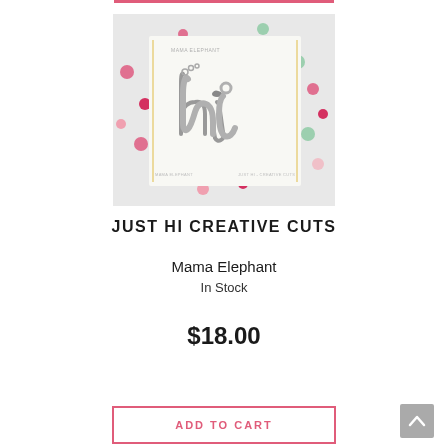[Figure (photo): Product photo of 'Just Hi Creative Cuts' die set by Mama Elephant, showing a card with 'hi' lettering die cuts on a white surface with colorful pom poms scattered around]
JUST HI CREATIVE CUTS
Mama Elephant
In Stock
$18.00
ADD TO CART